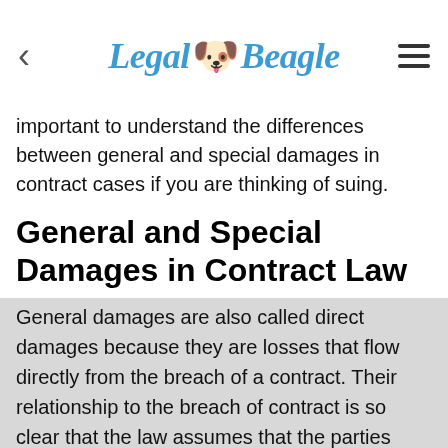Legal Beagle
important to understand the differences between general and special damages in contract cases if you are thinking of suing.
General and Special Damages in Contract Law
General damages are also called direct damages because they are losses that flow directly from the breach of a contract. Their relationship to the breach of contract is so clear that the law assumes that the parties should have known at the time they entered into the contract that these losses would result from a breach.